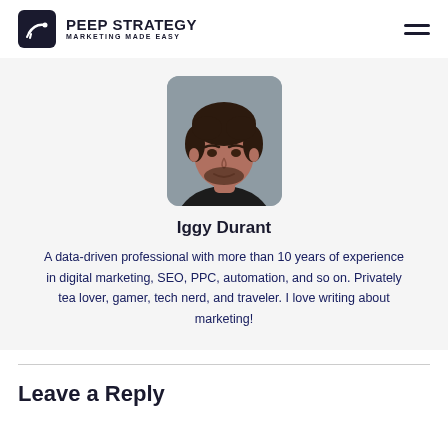PEEP STRATEGY MARKETING MADE EASY
[Figure (photo): Headshot photo of Iggy Durant, a man with dark curly hair and beard wearing dark clothing, rounded rectangle crop]
Iggy Durant
A data-driven professional with more than 10 years of experience in digital marketing, SEO, PPC, automation, and so on. Privately tea lover, gamer, tech nerd, and traveler. I love writing about marketing!
Leave a Reply